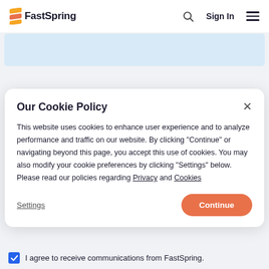FastSpring — Sign In
[Figure (screenshot): Light blue banner area partially visible below the navigation bar]
Our Cookie Policy
This website uses cookies to enhance user experience and to analyze performance and traffic on our website. By clicking "Continue" or navigating beyond this page, you accept this use of cookies. You may also modify your cookie preferences by clicking "Settings" below. Please read our policies regarding Privacy and Cookies
Settings   Continue
I agree to receive communications from FastSpring.